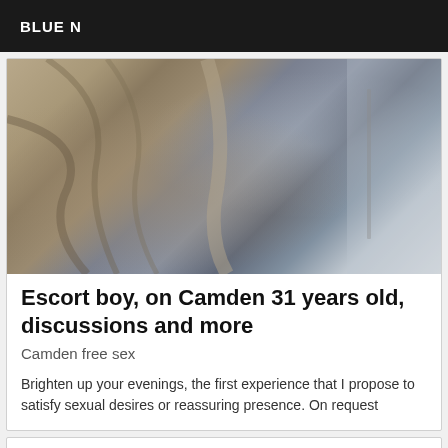BLUE N
[Figure (photo): Close-up photo of a person wearing a grey/beige knit cardigan with a bag strap, standing near a door indoors]
Escort boy, on Camden 31 years old, discussions and more
Camden free sex
Brighten up your evenings, the first experience that I propose to satisfy sexual desires or reassuring presence. On request